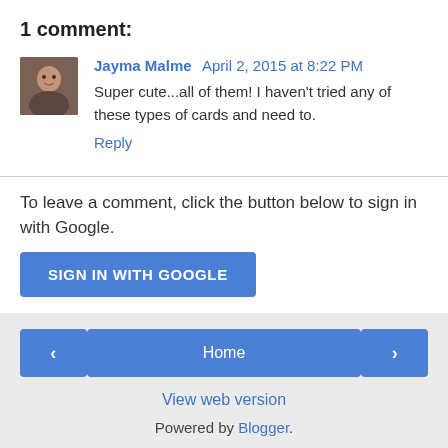1 comment:
Jayma Malme April 2, 2015 at 8:22 PM
Super cute...all of them! I haven't tried any of these types of cards and need to.
Reply
To leave a comment, click the button below to sign in with Google.
[Figure (other): SIGN IN WITH GOOGLE button]
< Home > View web version Powered by Blogger.